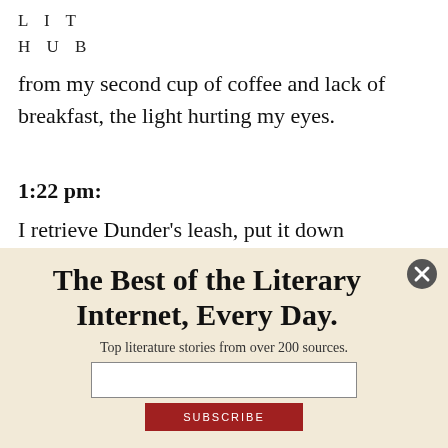LIT
HUB
from my second cup of coffee and lack of breakfast, the light hurting my eyes.
1:22 pm:
I retrieve Dunder's leash, put it down somewhere, forget where I put it, find it, repeat that process one more time, and then bring him
The Best of the Literary Internet, Every Day.
Top literature stories from over 200 sources.